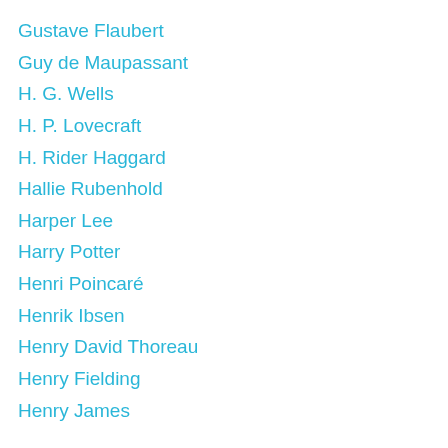Gustave Flaubert
Guy de Maupassant
H. G. Wells
H. P. Lovecraft
H. Rider Haggard
Hallie Rubenhold
Harper Lee
Harry Potter
Henri Poincaré
Henrik Ibsen
Henry David Thoreau
Henry Fielding
Henry James